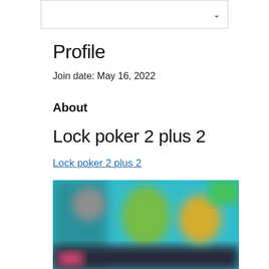[Figure (screenshot): Dropdown input box with a chevron/arrow icon on the right side]
Profile
Join date: May 16, 2022
About
Lock poker 2 plus 2
Lock poker 2 plus 2
[Figure (photo): Blurred screenshot of a video or game interface with teal/green background and figures visible]